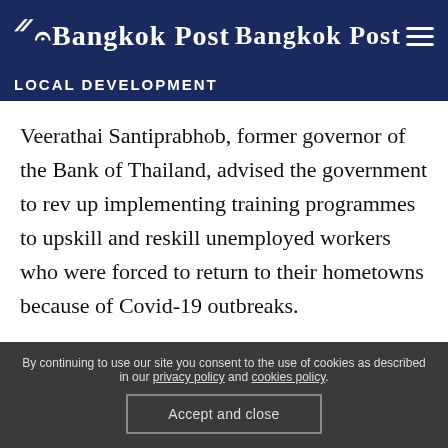Bangkok Post
LOCAL DEVELOPMENT
Veerathai Santiprabhob, former governor of the Bank of Thailand, advised the government to rev up implementing training programmes to upskill and reskill unemployed workers who were forced to return to their hometowns because of Covid-19 outbreaks.
By continuing to use our site you consent to the use of cookies as described in our privacy policy and cookies policy.
Accept and close